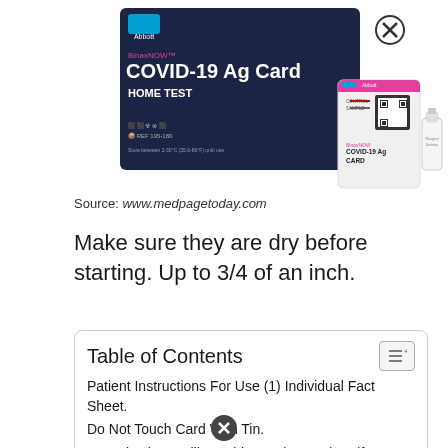[Figure (photo): BinaxNOW COVID-19 Ag Card Home Test product box (dark blue/navy) by Abbott, with product card and reagent bottle shown beside it. A close/dismiss button (X in circle) is shown at top right.]
Source: www.medpagetoday.com
Make sure they are dry before starting. Up to 3/4 of an inch.
| Table of Contents |
| --- |
| Patient Instructions For Use (1) Individual Fact Sheet. |
| Do Not Touch Card With Tin. |
| Organizations Will Be Able To View And Verify A |